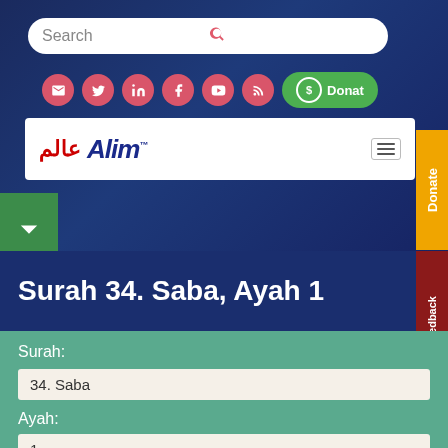Search
[Figure (screenshot): Alim website navigation bar with logo and hamburger menu]
Surah 34. Saba, Ayah 1
Surah:
34. Saba
Ayah:
1